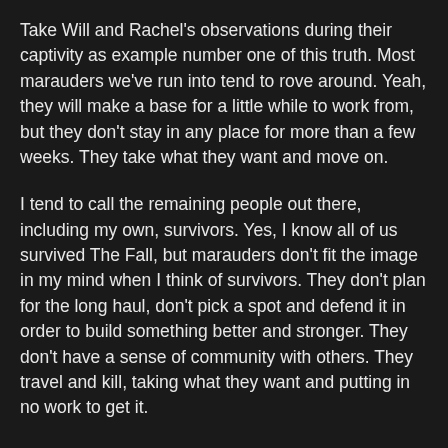Take Will and Rachel's observations during their captivity as example number one of this truth. Most marauders we've run into tend to rove around. Yeah, they will make a base for a little while to work from, but they don't stay in any place for more than a few weeks. They take what they want and move on.
I tend to call the remaining people out there, including my own, survivors. Yes, I know all of us survived The Fall, but marauders don't fit the image in my mind when I think of survivors. They don't plan for the long haul, don't pick a spot and defend it in order to build something better and stronger. They don't have a sense of community with others. They travel and kill, taking what they want and putting in no work to get it.
Until now, apparently. While temperaments vary, I've always thought of survivors as essentially one class of people, defined by their willingness to cooperate and their commitment to the group. From our point of view, the survival of the clan is predicated on the idea that banding